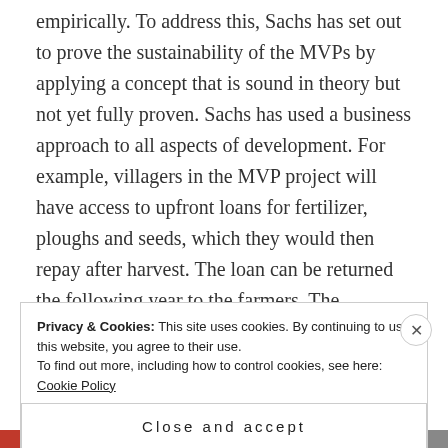empirically. To address this, Sachs has set out to prove the sustainability of the MVPs by applying a concept that is sound in theory but not yet fully proven. Sachs has used a business approach to all aspects of development. For example, villagers in the MVP project will have access to upfront loans for fertilizer, ploughs and seeds, which they would then repay after harvest. The loan can be returned the following year to the farmers. The intention is that these resources will assist the farmers to increase their productivity and will allow them to escape from subsistence farming.
Privacy & Cookies: This site uses cookies. By continuing to use this website, you agree to their use. To find out more, including how to control cookies, see here: Cookie Policy
Close and accept